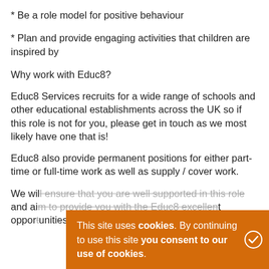* Be a role model for positive behaviour
* Plan and provide engaging activities that children are inspired by
Why work with Educ8?
Educ8 Services recruits for a wide range of schools and other educational establishments across the UK so if this role is not for you, please get in touch as we most likely have one that is!
Educ8 also provide permanent positions for either part-time or full-time work as well as supply / cover work.
We will ensure that you are well supported in this role and aim to provide you with the Educ8 excellent opportunities your career.
This site uses cookies. By continuing to use this site you consent to our use of cookies.